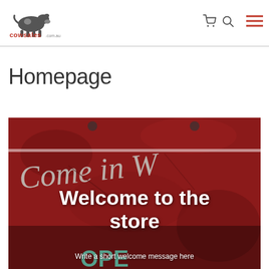cowsales.com.au — navigation header with cart, search, and menu icons
Homepage
[Figure (photo): A weathered red metal sign with white painted text reading 'Come in We' (partially cropped). Over the photo overlay text reads 'Welcome to the store' and below 'Write a short welcome message here'.]
Welcome to the store
Write a short welcome message here